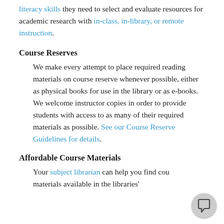literacy skills they need to select and evaluate resources for academic research with in-class, in-library, or remote instruction.
Course Reserves
We make every attempt to place required reading materials on course reserve whenever possible, either as physical books for use in the library or as e-books. We welcome instructor copies in order to provide students with access to as many of their required materials as possible. See our Course Reserve Guidelines for details.
Affordable Course Materials
Your subject librarian can help you find course materials available in the libraries'